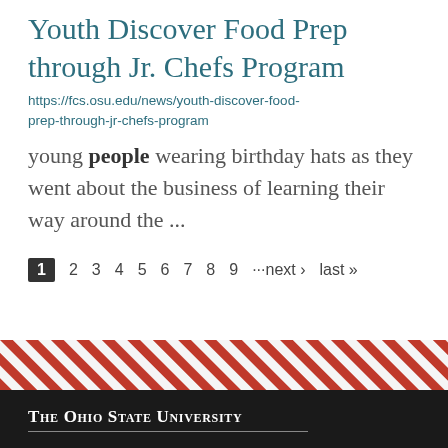Youth Discover Food Prep through Jr. Chefs Program
https://fcs.osu.edu/news/youth-discover-food-prep-through-jr-chefs-program
young people wearing birthday hats as they went about the business of learning their way around the ...
1  2  3  4  5  6  7  8  9  ···next ›  last »
[Figure (illustration): Diagonal red and white stripe decorative band]
The Ohio State University